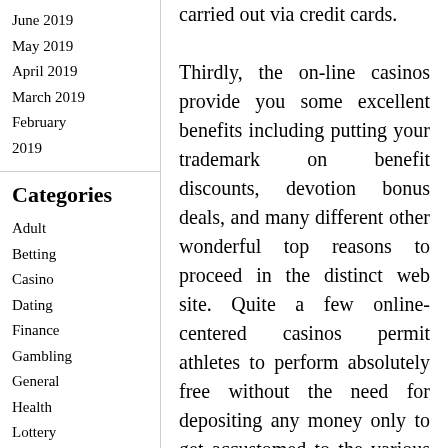June 2019
May 2019
April 2019
March 2019
February 2019
Categories
Adult
Betting
Casino
Dating
Finance
Gambling
General
Health
Lottery
Poker
Slot
carried out via credit cards. Thirdly, the on-line casinos provide you some excellent benefits including putting your trademark on benefit discounts, devotion bonus deals, and many different other wonderful top reasons to proceed in the distinct web site. Quite a few online-centered casinos permit athletes to perform absolutely free without the need for depositing any money only to get accustomed to the various game titles and understand how to embark on them. As soon as the players are attempting to